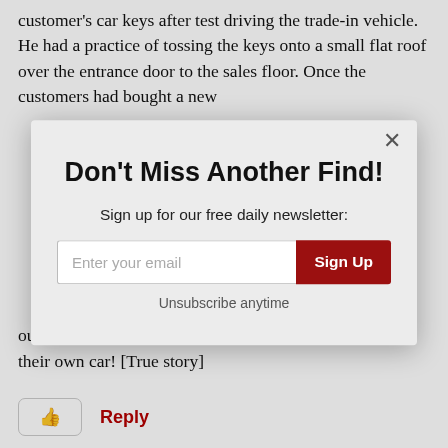customer's car keys after test driving the trade-in vehicle. He had a practice of tossing the keys onto a small flat roof over the entrance door to the sales floor. Once the customers had bought a new
[Figure (screenshot): Modal popup dialog with title 'Don't Miss Another Find!', subtitle 'Sign up for our free daily newsletter:', an email input field, a dark red 'Sign Up' button, and 'Unsubscribe anytime' text. A close (×) button is in the top right corner.]
out another dealership, as they were in a loaner car, not their own car! [True story]
👍  Reply